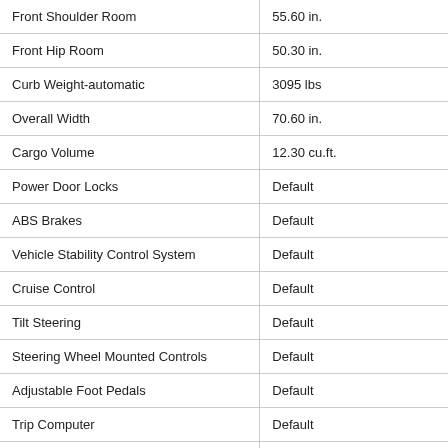| Feature | Value |
| --- | --- |
| Front Shoulder Room | 55.60 in. |
| Front Hip Room | 50.30 in. |
| Curb Weight-automatic | 3095 lbs |
| Overall Width | 70.60 in. |
| Cargo Volume | 12.30 cu.ft. |
| Power Door Locks | Default |
| ABS Brakes | Default |
| Vehicle Stability Control System | Default |
| Cruise Control | Default |
| Tilt Steering | Default |
| Steering Wheel Mounted Controls | Default |
| Adjustable Foot Pedals | Default |
| Trip Computer | Default |
| Voice Activated Telephone | Default |
| Driver Multi-Adjustable Power Seat | Default |